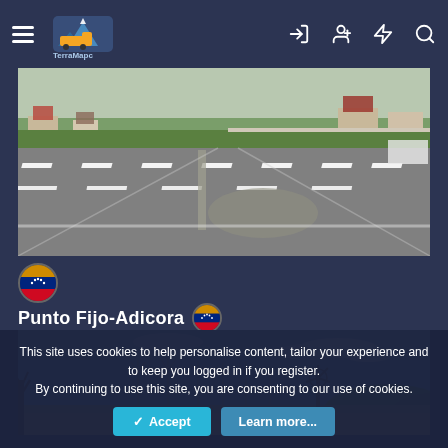TerraMapc — navigation header with hamburger menu, logo, and icons (login, profile, lightning, search)
[Figure (screenshot): Road scene: multi-lane road with white dashed lane markings, green trees, houses and buildings in background, gray sky]
[Figure (illustration): Venezuelan flag circle icon]
Punto Fijo-Adicora 🇻🇪
[Figure (screenshot): Wind turbine field scene: flat landscape with multiple wind turbines, an old-style windmill in the right, green hills in the background, blue sky with light clouds]
This site uses cookies to help personalise content, tailor your experience and to keep you logged in if you register. By continuing to use this site, you are consenting to our use of cookies.
✓ Accept | Learn more...